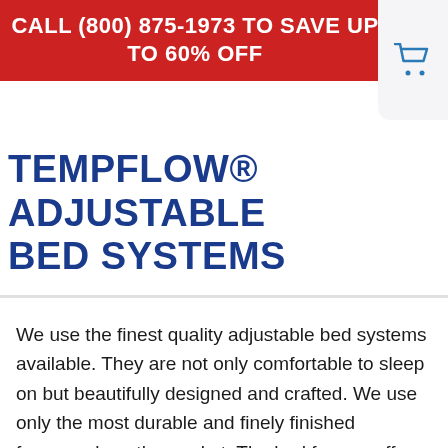CALL (800) 875-1973 TO SAVE UP TO 60% OFF
TEMPFLOW® ADJUSTABLE BED SYSTEMS
We use the finest quality adjustable bed systems available. They are not only comfortable to sleep on but beautifully designed and crafted. We use only the most durable and finely finished framework on the market. The bed frames offer removable legs that do not require the use of